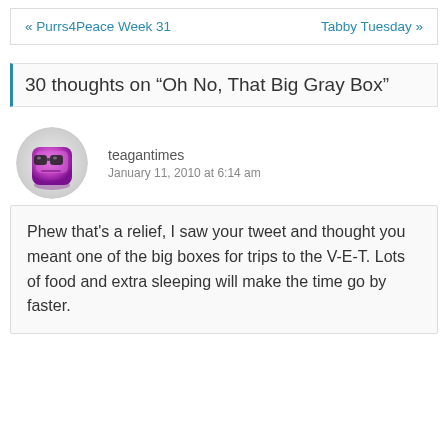« Purrs4Peace Week 31   Tabby Tuesday »
30 thoughts on “Oh No, That Big Gray Box”
[Figure (illustration): Purple cartoon avatar icon with glasses, round shape]
teagantimes
January 11, 2010 at 6:14 am
Phew that's a relief, I saw your tweet and thought you meant one of the big boxes for trips to the V-E-T. Lots of food and extra sleeping will make the time go by faster.